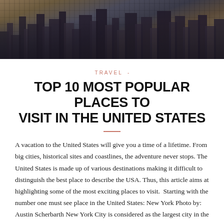[Figure (photo): Aerial view of New York City skyscrapers, urban cityscape with dense high-rise buildings]
TRAVEL  -
TOP 10 MOST POPULAR PLACES TO VISIT IN THE UNITED STATES
A vacation to the United States will give you a time of a lifetime. From big cities, historical sites and coastlines, the adventure never stops. The United States is made up of various destinations making it difficult to distinguish the best place to describe the USA. Thus, this article aims at highlighting some of the most exciting places to visit. Starting with the number one must see place in the United States: New York Photo by: Austin Scherbarth New York City is considered as the largest city in the world. Many individuals have made this the best destination, as people continue to